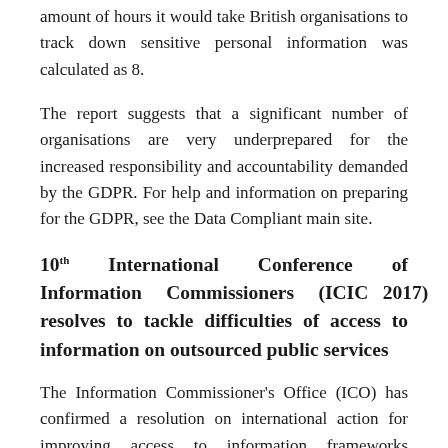amount of hours it would take British organisations to track down sensitive personal information was calculated as 8.
The report suggests that a significant number of organisations are very underprepared for the increased responsibility and accountability demanded by the GDPR. For help and information on preparing for the GDPR, see the Data Compliant main site.
10th International Conference of Information Commissioners (ICIC 2017) resolves to tackle difficulties of access to information on outsourced public services
The Information Commissioner's Office (ICO) has confirmed a resolution on international action for improving access to information frameworks surrounding contracted-out public services, a system which has seen increased use throughout